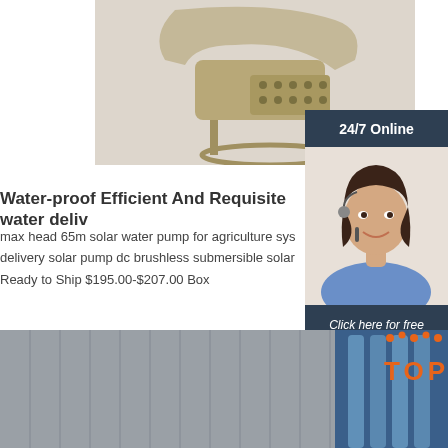[Figure (photo): Submersible solar water pump product photo on white/grey background, metallic bronze/gold colored pump with circular base and perforated housing]
[Figure (photo): 24/7 Online customer service representative - woman with dark hair wearing headset and blue shirt, smiling, with '24/7 Online' header banner in dark blue]
Water-proof Efficient And Requisite water deliv
max head 65m solar water pump for agriculture sys delivery solar pump dc brushless submersible solar Ready to Ship $195.00-$207.00 Box
Get Price
Click here for free chat !
QUOTATION
[Figure (photo): Factory interior/exterior photo showing industrial setting with grey metal panels and blue equipment, 'TOP' branding logo with orange dots overlay in bottom right]